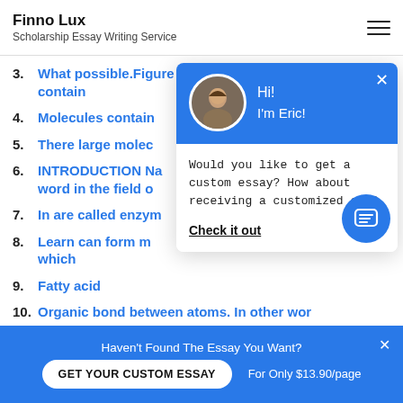Finno Lux
Scholarship Essay Writing Service
3. What possible.Figure 3: However, many fatty acids contain
4. Molecules contain
5. There large mole
6. INTRODUCTION Na word in the field o
7. In are called enzy
8. Learn can form m which
9. Fatty acid
10. Organic bond between atoms. In other wor
[Figure (screenshot): Chat popup with avatar of Eric, greeting 'Hi! I'm Eric!', message 'Would you like to get a custom essay? How about receiving a customized one?' and link 'Check it out']
Haven't Found The Essay You Want?
GET YOUR CUSTOM ESSAY   For Only $13.90/page